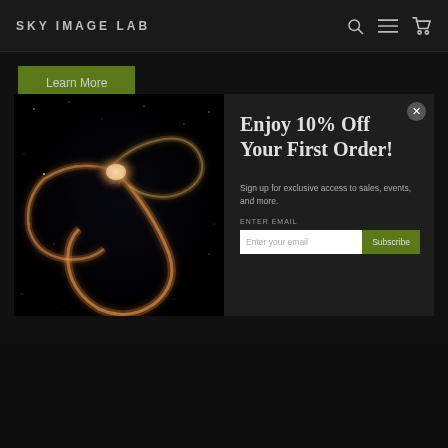SKY IMAGE LAB
Learn More
[Figure (photo): Hubble space telescope image of two galaxies forming a rose-like spiral shape against a black starfield background]
Enjoy 10% Off Your First Order!
Sign up for exclusive access to sales, events, and more.
ENTER EMAIL
Subscribe